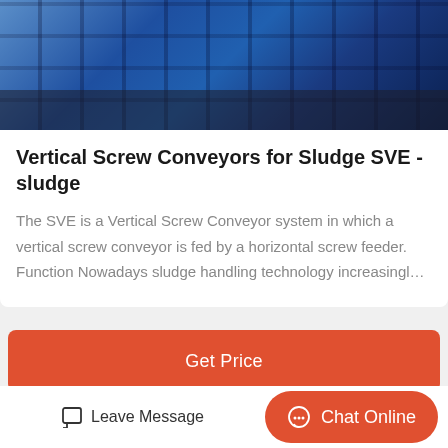[Figure (photo): Blue metal industrial conveyor or shelving machinery photographed from below/side angle in a warehouse setting]
Vertical Screw Conveyors for Sludge SVE - sludge
The SVE is a Vertical Screw Conveyor system in which a vertical screw conveyor is fed by a horizontal screw feeder. Function Nowadays sludge handling technology increasingl…
Get Price
[Figure (photo): Industrial screw conveyor machinery with red/orange structural beams and metal tubes in a warehouse/factory interior]
Leave Message
Chat Online